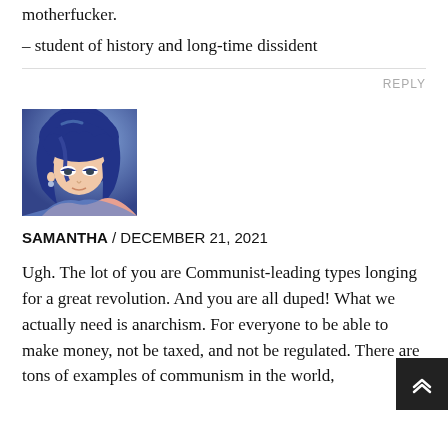motherfucker.
– student of history and long-time dissident
REPLY
[Figure (illustration): Anime-style avatar image of a blue-haired character looking down, used as a commenter profile picture.]
SAMANTHA / DECEMBER 21, 2021
Ugh. The lot of you are Communist-leading types longing for a great revolution. And you are all duped! What we actually need is anarchism. For everyone to be able to make money, not be taxed, and not be regulated. There are tons of examples of communism in the world,